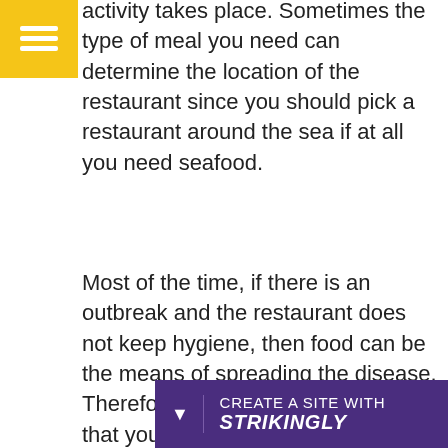[Figure (other): Yellow hamburger menu button icon in top-left corner]
activity takes place. Sometimes the type of meal you need can determine the location of the restaurant since you should pick a restaurant around the sea if at all you need seafood.
Most of the time, if there is an outbreak and the restaurant does not keep hygiene, then food can be the means of spreading the disease. Therefore, you need to make sure that your health is the priority of the restaurant you are about to pick. Hence, you should visit each prospective resta[urant and check whether it mai]ns hygie[ne standards...]
[Figure (other): Purple Strikingly website builder banner at bottom with 'CREATE A SITE WITH strikingly' text]